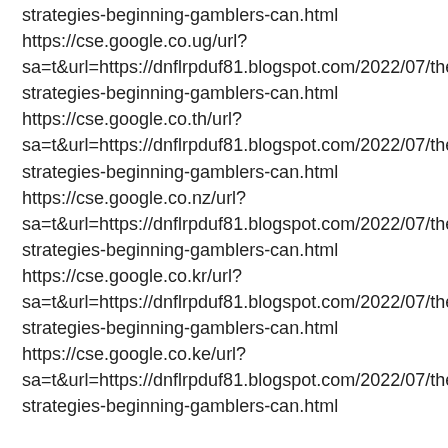strategies-beginning-gamblers-can.html
https://cse.google.co.ug/url?sa=t&url=https://dnflrpduf81.blogspot.com/2022/07/the-strategies-beginning-gamblers-can.html
https://cse.google.co.th/url?sa=t&url=https://dnflrpduf81.blogspot.com/2022/07/the-strategies-beginning-gamblers-can.html
https://cse.google.co.nz/url?sa=t&url=https://dnflrpduf81.blogspot.com/2022/07/the-strategies-beginning-gamblers-can.html
https://cse.google.co.kr/url?sa=t&url=https://dnflrpduf81.blogspot.com/2022/07/the-strategies-beginning-gamblers-can.html
https://cse.google.co.ke/url?sa=t&url=https://dnflrpduf81.blogspot.com/2022/07/the-strategies-beginning-gamblers-can.html